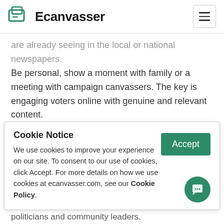Ecanvasser
are already seeing in the local or national newspapers. Be personal, show a moment with family or a meeting with campaign canvassers. The key is engaging voters online with genuine and relevant content.
4. P...
Cookie Notice
We use cookies to improve your experience on our site. To consent to our use of cookies, click Accept. For more details on how we use cookies at ecanvasser.com, see our Cookie Policy.
politicians and community leaders.